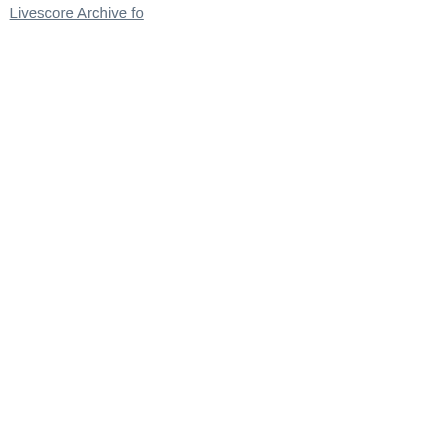14.02.2022   Livescore Archive for 13.02.2022   Livescore Archive for 10.02.2022   Livescore Archive fo...
Livescore Archive for 06.02.2022   Livescore...
03.02.2022   Livescore Archive for 02.02.2022...
Livescore Archive for 31.01.2022   Livescore...
28.01.2022   Livescore Archive for 27.01.2022...
Archive for 24.01.2022   Livescore Archive fo...
Livescore Archive for 20.01.2022   Livescore...
17.01.2022   Livescore Archive for 16.01.2022...
Archive for 13.01.2022   Livescore Archive fo...
Livescore Archive for 09.01.2022   Livescore...
06.01.2022   Livescore Archive for 05.01.2022...
Archive for 02.01.2022   Livescore Archive for...
Livescore Archive for 31.12.2021   Livescore...
28.12.2021   Livescore Archive for 27.12.2021...
Archive for 24.12.2021   Livescore Archive fo...
Livescore Archive for 20.12.2021   Livescore...
17.12.2021   Livescore Archive for 16.12.2021...
Archive for 13.12.2021   Livescore Archive fo...
Livescore Archive for 09.12.2021   Livescore...
06.12.2021   Livescore Archive for 05.12.2021...
Archive for 02.12.2021   Livescore Archive for...
Livescore Archive for 30.11.2021   Livescore...
27.11.2021   Livescore Archive for 26.11.2021...
Archive for 23.11.2021   Livescore Archive fo...